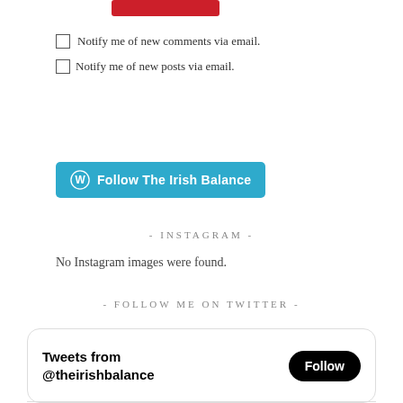[Figure (other): Red button/banner at top of page]
Notify me of new comments via email.
Notify me of new posts via email.
[Figure (other): Follow The Irish Balance button (WordPress teal/blue)]
- INSTAGRAM -
No Instagram images were found.
- FOLLOW ME ON TWITTER -
[Figure (screenshot): Twitter widget showing Tweets from @theirishbalance with a Follow button]